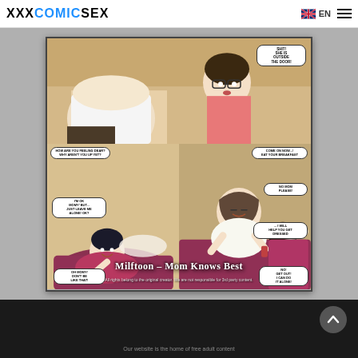XXXCOMICSEX — EN navigation header
[Figure (illustration): Adult comic illustration titled 'Milftoon - Mom Knows Best' showing multiple comic panels with characters in bedroom scenes with speech bubbles.]
Dark footer with scroll-to-top button